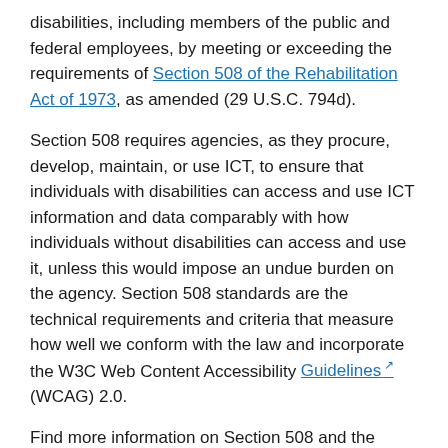disabilities, including members of the public and federal employees, by meeting or exceeding the requirements of Section 508 of the Rehabilitation Act of 1973, as amended (29 U.S.C. 794d).
Section 508 requires agencies, as they procure, develop, maintain, or use ICT, to ensure that individuals with disabilities can access and use ICT information and data comparably with how individuals without disabilities can access and use it, unless this would impose an undue burden on the agency. Section 508 standards are the technical requirements and criteria that measure how well we conform with the law and incorporate the W3C Web Content Accessibility Guidelines (WCAG) 2.0.
Find more information on Section 508 and the technical standards at the General Services Administration can be found on the Section 508 webpage.
Report accessibility issues or file a formal complaint
If you believe that our ICT does not comply with Section 508 of the Rehabilitation Act, you may file a 508 complaint by